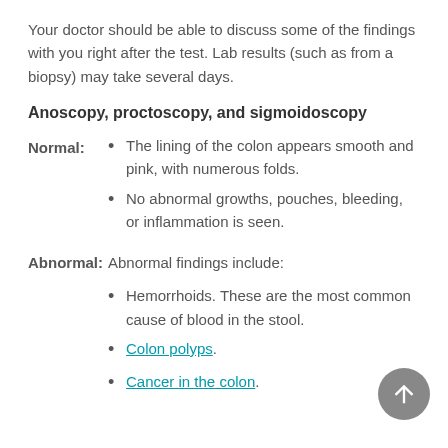Your doctor should be able to discuss some of the findings with you right after the test. Lab results (such as from a biopsy) may take several days.
Anoscopy, proctoscopy, and sigmoidoscopy
Normal: The lining of the colon appears smooth and pink, with numerous folds. No abnormal growths, pouches, bleeding, or inflammation is seen.
Abnormal: Abnormal findings include:
Hemorrhoids. These are the most common cause of blood in the stool.
Colon polyps.
Cancer in the colon.